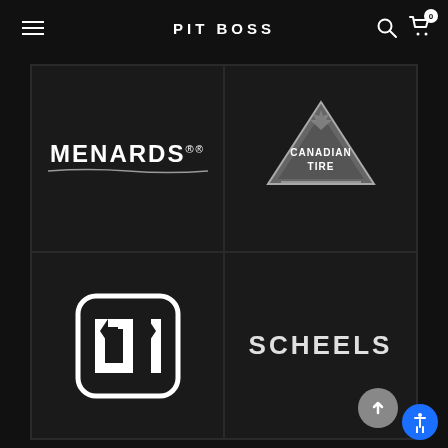PIT BOSS
[Figure (logo): Menards logo - white bold text on dark background with underline]
[Figure (logo): Canadian Tire logo - grey triangle with maple leaf and text]
[Figure (logo): DH (Do it Hardware) logo - white icon in rounded square on dark background]
[Figure (logo): SCHEELS logo - white bold text on dark background]